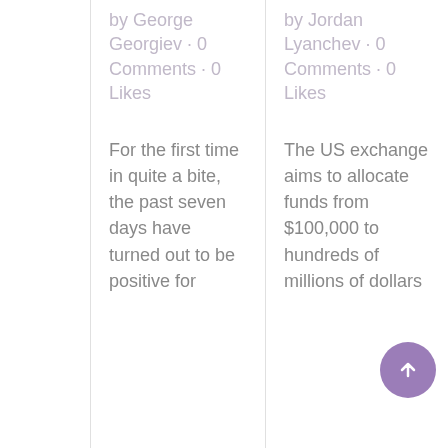by George Georgiev · 0 Comments · 0 Likes
For the first time in quite a bite, the past seven days have turned out to be positive for Bitcoin
by Jordan Lyanchev · 0 Comments · 0 Likes
The US exchange aims to allocate funds from $100,000 to hundreds of millions of dollars